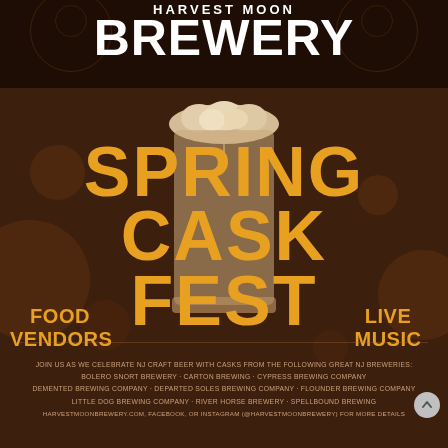HARVEST MOON BREWERY
[Figure (illustration): Beer mug with foam overflowing at the top, beige/tan color, used as background graphic behind the event title text]
SPRING CASK FEST
FOOD VENDORS
LIVE MUSIC
JOIN US AS WE CELEBRATE NJ CRAFT BEER WITH CASKS FROM THE FOLLOWING GREAT NJ BREWERIES:
BOLERO SNORT BREWERY · CARTON BREWING · CYPRESS BREWING COMPANY DEMENTED BREWING COMPANY · DEPARTED SOLES BREWING COMPANY · FLOUNDER BREWING COMPANY LITTLE DOG BREWING COMPANY · RIVER HORSE BREWERY · SPELLBOUND BREWING
HARVESTMOONBREWERY.COM, FACEBOOK, OR INSTAGRAM (@HARVESTMOONBREWERY) FOR MORE DETAILS